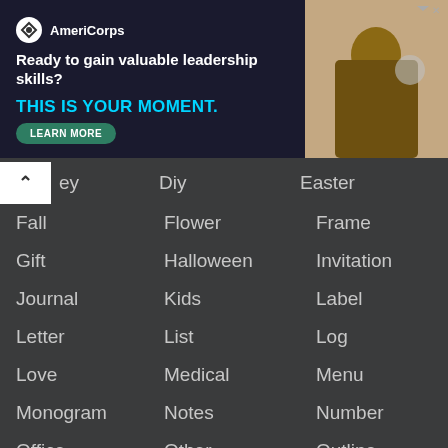[Figure (infographic): AmeriCorps advertisement banner. Logo with text 'AmeriCorps'. Tagline: 'Ready to gain valuable leadership skills? THIS IS YOUR MOMENT.' with a 'LEARN MORE' button. Photo of people on the right side.]
ey
Diy
Easter
Fall
Flower
Frame
Gift
Halloween
Invitation
Journal
Kids
Label
Letter
List
Log
Love
Medical
Menu
Monogram
Notes
Number
Office
Other
Outline
Paper
Party
Pictures
Planner
Poster
Preschool
Print
Schedule
School
Sheet
Stencil
Sticker
Summer
Tag
Template
Thanksgiving
Valentine
Vintage
Wall
Wedding
Weekly